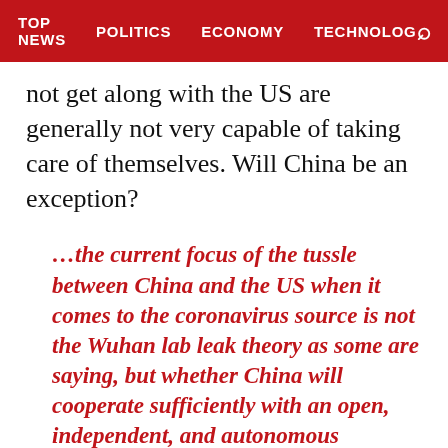TOP NEWS   POLITICS   ECONOMY   TECHNOLOG
not get along with the US are generally not very capable of taking care of themselves. Will China be an exception?
...the current focus of the tussle between China and the US when it comes to the coronavirus source is not the Wuhan lab leak theory as some are saying, but whether China will cooperate sufficiently with an open, independent, and autonomous international investigation.